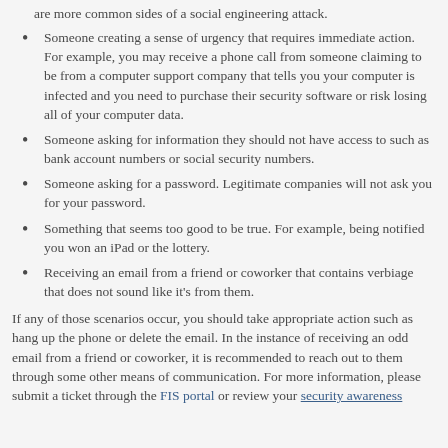are more common sides of a social engineering attack.
Someone creating a sense of urgency that requires immediate action.  For example, you may receive a phone call from someone claiming to be from a computer support company that tells you your computer is infected and you need to purchase their security software or risk losing all of your computer data.
Someone asking for information they should not have access to such as bank account numbers or social security numbers.
Someone asking for a password.  Legitimate companies will not ask you for your password.
Something that seems too good to be true.  For example, being notified you won an iPad or the lottery.
Receiving an email from a friend or coworker that contains verbiage that does not sound like it’s from them.
If any of those scenarios occur, you should take appropriate action such as hang up the phone or delete the email.  In the instance of receiving an odd email from a friend or coworker, it is recommended to reach out to them through some other means of communication.  For more information, please submit a ticket through the FIS portal or review your security awareness